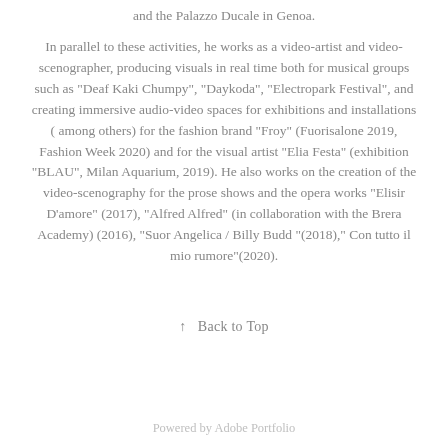and the Palazzo Ducale in Genoa.
In parallel to these activities, he works as a video-artist and video-scenographer, producing visuals in real time both for musical groups such as "Deaf Kaki Chumpy", "Daykoda", "Electropark Festival", and creating immersive audio-video spaces for exhibitions and installations ( among others) for the fashion brand "Froy" (Fuorisalone 2019, Fashion Week 2020) and for the visual artist "Elia Festa" (exhibition "BLAU", Milan Aquarium, 2019). He also works on the creation of the video-scenography for the prose shows and the opera works "Elisir D'amore" (2017), "Alfred Alfred" (in collaboration with the Brera Academy) (2016), "Suor Angelica / Billy Budd "(2018)," Con tutto il mio rumore"(2020).
↑   Back to Top
Powered by Adobe Portfolio